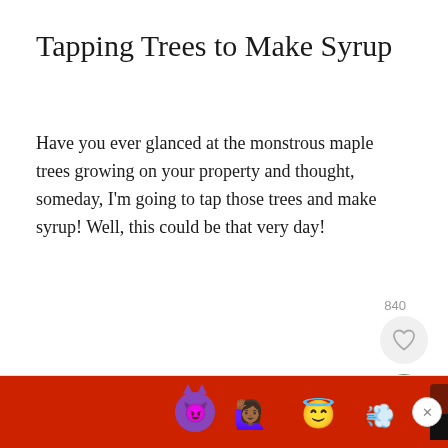Tapping Trees to Make Syrup
Have you ever glanced at the monstrous maple trees growing on your property and thought, someday, I'm going to tap those trees and make syrup! Well, this could be that very day!
[Figure (screenshot): Advertisement banner at bottom of screen showing BitLife game ad with emojis (devil, woman with hands up, winking face with halo, sperm cell), BitLife logo with question mark and X, and 'REAL CHOICES' text on red background. An X close button appears to the right.]